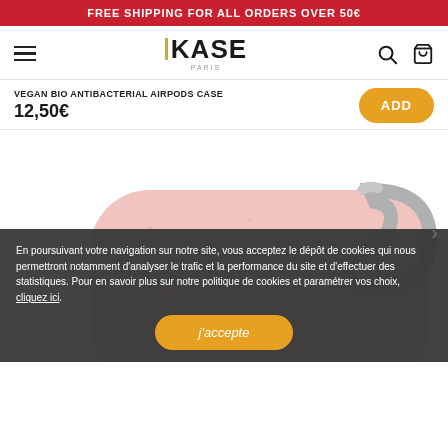FREE SHIPPING FOR ALL ORDERS OVER 50€
[Figure (logo): The Kase Paris logo with hamburger menu, search and cart icons]
VEGAN BIO ANTIBACTERIAL AIRPODS CASE
12,50€
[Figure (photo): Pink vegan bio antibacterial AirPods case with carabiner clip, product on white background]
En poursuivant votre navigation sur notre site, vous acceptez le dépôt de cookies qui nous permettront notamment d'analyser le trafic et la performance du site et d'effectuer des statistiques. Pour en savoir plus sur notre politique de cookies et paramétrer vos choix, cliquez ici.
j'accepte